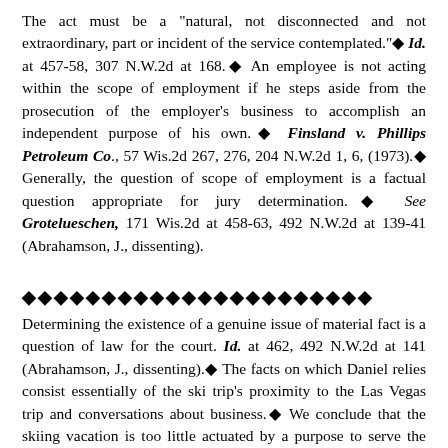The act must be a "natural, not disconnected and not extraordinary, part or incident of the service contemplated."◆ Id. at 457-58, 307 N.W.2d at 168.◆ An employee is not acting within the scope of employment if he steps aside from the prosecution of the employer's business to accomplish an independent purpose of his own.◆ Finsland v. Phillips Petroleum Co., 57 Wis.2d 267, 276, 204 N.W.2d 1, 6, (1973).◆ Generally, the question of scope of employment is a factual question appropriate for jury determination.◆ See Grotelueschen, 171 Wis.2d at 458-63, 492 N.W.2d at 139-41 (Abrahamson, J., dissenting).
◆◆◆◆◆◆◆◆◆◆◆◆◆◆◆◆◆◆◆◆◆◆
Determining the existence of a genuine issue of material fact is a question of law for the court. Id. at 462, 492 N.W.2d at 141 (Abrahamson, J., dissenting).◆ The facts on which Daniel relies consist essentially of the ski trip's proximity to the Las Vegas trip and conversations about business.◆ We conclude that the skiing vacation is too little actuated by a purpose to serve the employer to permit the inference that the events giving rise to the injury fell within the scope of employment.◆ See Finsland, 57 Wis.2d at 276, 204 N.W.2d at 6.